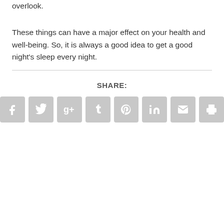overlook.

These things can have a major effect on your health and well-being. So, it is always a good idea to get a good night's sleep every night.
SHARE:
[Figure (infographic): A row of 8 social sharing icon buttons (Facebook, Twitter, Google+, Tumblr, Pinterest, LinkedIn, Email, Print) with grey rounded square backgrounds and white icons.]